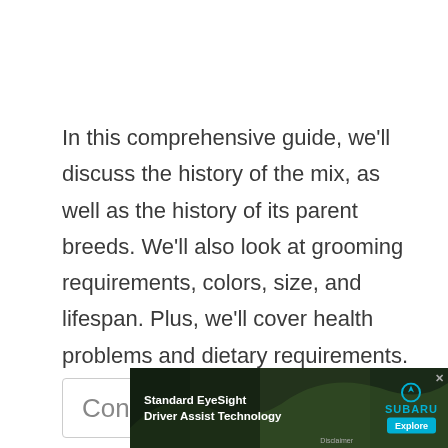In this comprehensive guide, we'll discuss the history of the mix, as well as the history of its parent breeds. We'll also look at grooming requirements, colors, size, and lifespan. Plus, we'll cover health problems and dietary requirements. Finally, we'll give you our opinion on whether or not the Pug golden retriever mix is the perfect pet for families.
[Figure (other): Partially visible contents box with blue button, and an advertisement banner for Subaru Standard EyeSight Driver Assist Technology at the bottom]